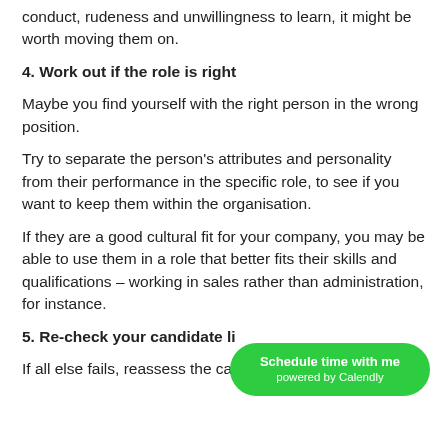conduct, rudeness and unwillingness to learn, it might be worth moving them on.
4. Work out if the role is right
Maybe you find yourself with the right person in the wrong position.
Try to separate the person’s attributes and personality from their performance in the specific role, to see if you want to keep them within the organisation.
If they are a good cultural fit for your company, you may be able to use them in a role that better fits their skills and qualifications – working in sales rather than administration, for instance.
5. Re-check your candidate li
If all else fails, reassess the candidates on your
[Figure (other): Green pill-shaped button reading 'Schedule time with me powered by Calendly']